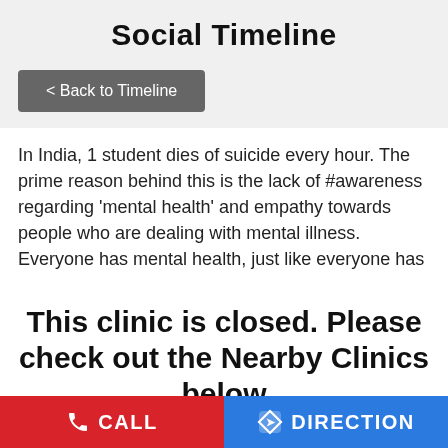Social Timeline
< Back to Timeline
In India, 1 student dies of suicide every hour. The prime reason behind this is the lack of #awareness regarding ‘mental health’ and empathy towards people who are dealing with mental illness. Everyone has mental health, just like everyone has
This clinic is closed. Please check out the Nearby Clinics below
their mental well-being (i.e., their mental health) just like we all have challenges with our physical well-being from time to time. September 6–12 is observed as Suicide Prevention Week. It is an annual week-long campaign to inform and engage
CALL   DIRECTION